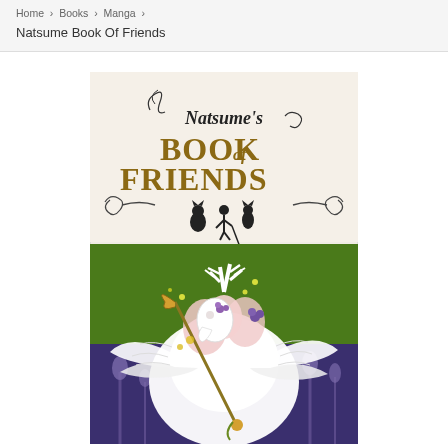Home > Books > Manga >
Natsume Book Of Friends
[Figure (illustration): Manga book cover for Natsume's Book of Friends. Features decorative title text 'Natsume's BOOK of FRIENDS' with ornamental scrollwork and silhouettes of characters. Below is an illustration of a white creature with antlers wearing a bird-skull mask, holding a staff, surrounded by white feathery wings and purple flowers, against a green and purple background.]